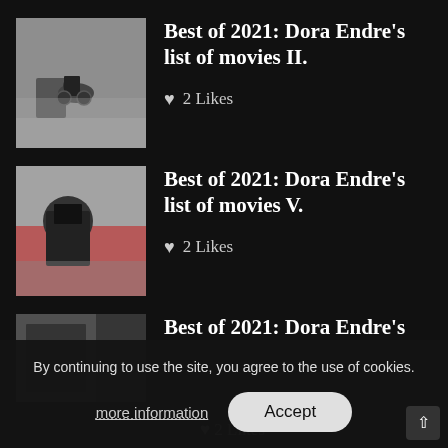Best of 2021: Dora Endre's list of movies II. ♥ 2 Likes
Best of 2021: Dora Endre's list of movies V. ♥ 2 Likes
Best of 2021: Dora Endre's ♥ 2 Likes
By continuing to use the site, you agree to the use of cookies.
more information
Accept